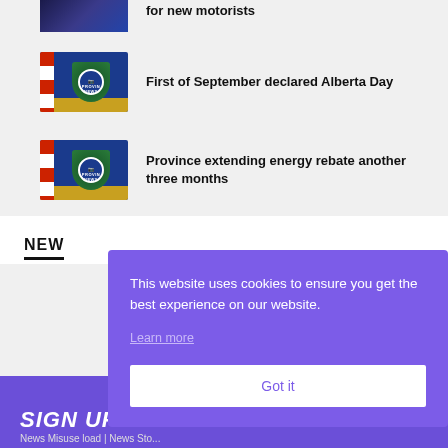[Figure (photo): Cropped top of a news thumbnail showing dark blue/purple gradient, partially visible, clipped at top of page]
for new motorists
[Figure (photo): Alberta Provincial News thumbnail showing blue background with Alberta province shield badge, red/white flag stripes on left, gold bottom bar]
First of September declared Alberta Day
[Figure (photo): Alberta Provincial News thumbnail showing blue background with Alberta province shield badge, red/white flag stripes on left, gold bottom bar]
Province extending energy rebate another three months
NEW
This website uses cookies to ensure you get the best experience on our website.
Learn more
Got it
SIGN UP FOR FREE
News Misuse load | News Sto...